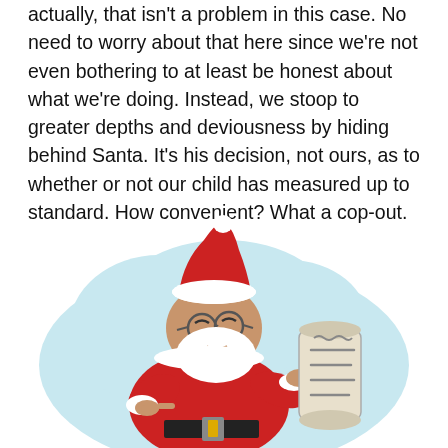actually, that isn't a problem in this case. No need to worry about that here since we're not even bothering to at least be honest about what we're doing. Instead, we stoop to greater depths and deviousness by hiding behind Santa. It's his decision, not ours, as to whether or not our child has measured up to standard. How convenient? What a cop-out.
[Figure (illustration): Cartoon illustration of Santa Claus in red suit reading from a scroll/list, set against a light blue cloud-shaped background. Santa is smiling and pointing at the list.]